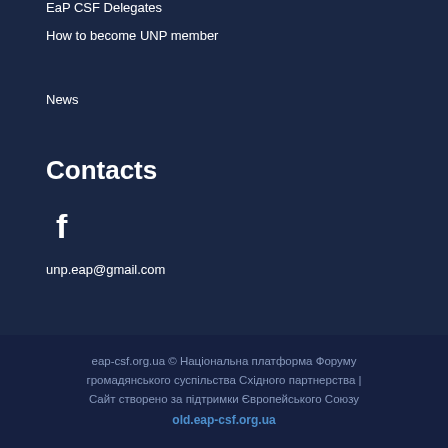EaP CSF Delegates
How to become UNP member
News
Contacts
[Figure (logo): Facebook icon (letter f in white)]
unp.eap@gmail.com
eap-csf.org.ua © Національна платформа Форуму громадянського суспільства Східного партнерства | Сайт створено за підтримки Європейського Союзу
old.eap-csf.org.ua